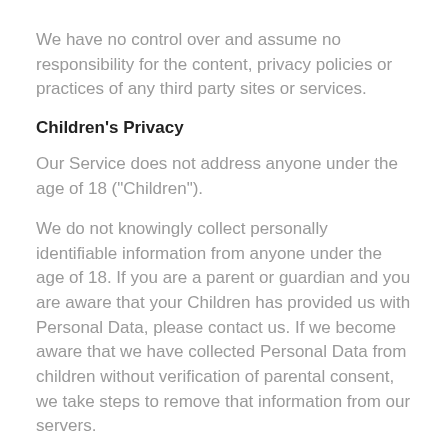We have no control over and assume no responsibility for the content, privacy policies or practices of any third party sites or services.
Children's Privacy
Our Service does not address anyone under the age of 18 ("Children").
We do not knowingly collect personally identifiable information from anyone under the age of 18. If you are a parent or guardian and you are aware that your Children has provided us with Personal Data, please contact us. If we become aware that we have collected Personal Data from children without verification of parental consent, we take steps to remove that information from our servers.
Changes To This Privacy Policy